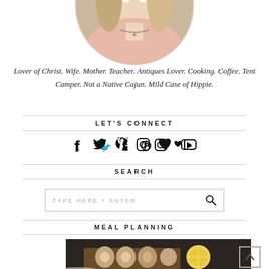[Figure (photo): Circular cropped portrait photo of a woman with blonde hair wearing a pink sweater and a necklace]
Lover of Christ. Wife. Mother. Teacher. Antiques Lover. Cooking. Coffee. Tent Camper. Not a Native Cajun. Mild Case of Hippie.
LET'S CONNECT
[Figure (infographic): Row of social media icons: Facebook, Twitter, Pinterest, Instagram, heart (Bloglovin), YouTube]
SEARCH
TYPE HERE + ENTER
MEAL PLANNING
[Figure (photo): Food photo showing eggs on a dark wooden tray with a lemon slice]